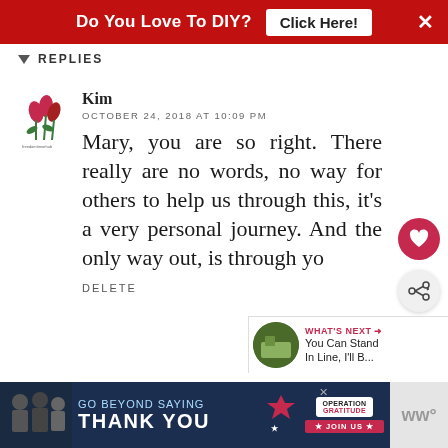[Figure (screenshot): Red banner advertisement: 'Do You Love To DIY? Click Here!' with close button]
REPLIES
[Figure (logo): Tulip flower logo avatar for user Kim]
Kim
OCTOBER 24, 2018 AT 10:09 PM
Mary, you are so right. There really are no words, no way for others to help us through this, it's a very personal journey. And the only way out, is through yo
DELETE
[Figure (screenshot): Bottom advertisement banner for Operation Gratitude: 'Go Beyond Saying Thank You - JOIN US']